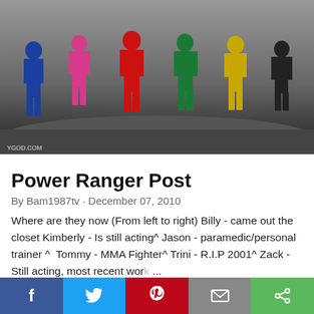[Figure (photo): Six Power Rangers in colored suits (blue, pink, red, green, yellow, black) posing on rocky terrain. Watermark 'YGOD.COM' visible at bottom left.]
Power Ranger Post
By Bam1987tv · December 07, 2010
Where are they now (From left to right) Billy - came out the closet Kimberly - Is still acting^ Jason - paramedic/personal trainer ^  Tommy - MMA Fighter^ Trini - R.I.P 2001^ Zack - Still acting, most recent wor ...
f  [twitter bird]  [pinterest]  [email]  [share]